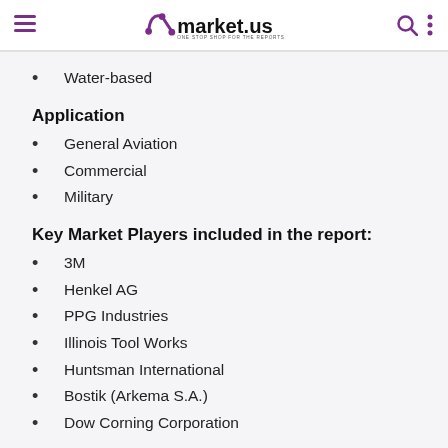market.us — ONE STOP SHOP FOR THE REPORTS
Water-based
Application
General Aviation
Commercial
Military
Key Market Players included in the report:
3M
Henkel AG
PPG Industries
Illinois Tool Works
Huntsman International
Bostik (Arkema S.A.)
Dow Corning Corporation